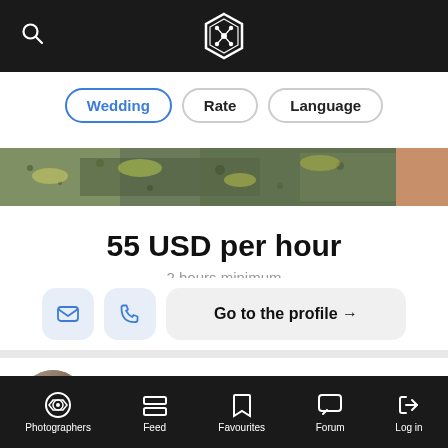[Figure (screenshot): Top navigation bar with search icon and hexagonal logo on dark background]
Wedding
Rate
Language
[Figure (photo): Outdoor photo strip showing gravel/stones with green moss and orange tones on right edge]
55 USD per hour
2 hours minimum
Go to the profile →
Aleksandr Osadchiy
Warsaw, Poland
[Figure (screenshot): Bottom navigation bar with icons: Photographers, Feed, Favourites, Forum, Log in]